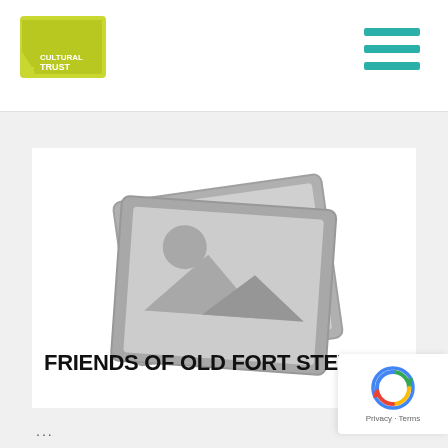[Figure (logo): Oregon Cultural Trust logo — green shape of Oregon state with text CULTURAL TRUST]
[Figure (illustration): Hamburger menu icon with three teal/green horizontal lines]
[Figure (illustration): Placeholder image icon showing two overlapping grey photo frames with mountain and sun silhouette]
FRIENDS OF OLD FORT STEVENS
[Figure (logo): Google reCAPTCHA badge with spinning arrows logo and Privacy - Terms text]